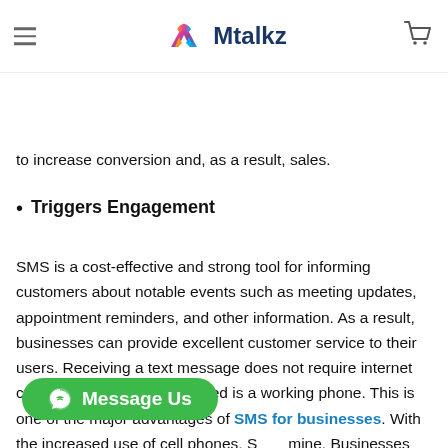Mtalkz
addition, if businesses use SMS CRM integration to notify customers... discounts, or retargeting, it will help in real-time communication to increase conversion and, as a result, sales.
Triggers Engagement
SMS is a cost-effective and strong tool for informing customers about notable events such as meeting updates, appointment reminders, and other information. As a result, businesses can provide excellent customer service to their users. Receiving a text message does not require internet connectivity; all that is required is a working phone. This is one of the major advantages of SMS for businesses. With the increased use of cell phones, S...mine. Businesses can take advantage of the ability to reach customers directly at their fingertips, allowing them to access and obtain...